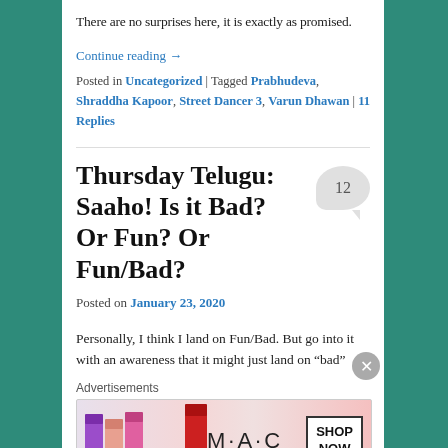There are no surprises here, it is exactly as promised.
Continue reading →
Posted in Uncategorized | Tagged Prabhudeva, Shraddha Kapoor, Street Dancer 3, Varun Dhawan | 11 Replies
Thursday Telugu: Saaho! Is it Bad? Or Fun? Or Fun/Bad?
Posted on January 23, 2020
Personally, I think I land on Fun/Bad. But go into it with an awareness that it might just land on "bad"
Advertisements
[Figure (photo): M·A·C cosmetics advertisement banner showing lipsticks with SHOP NOW button]